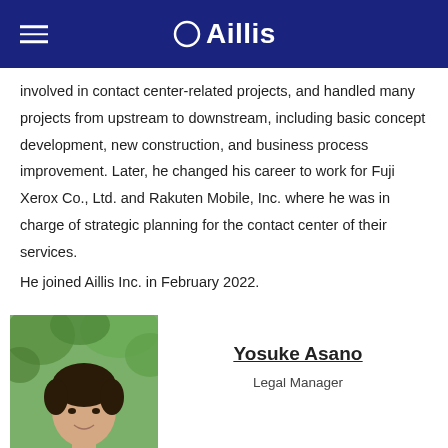OAillis
involved in contact center-related projects, and handled many projects from upstream to downstream, including basic concept development, new construction, and business process improvement. Later, he changed his career to work for Fuji Xerox Co., Ltd. and Rakuten Mobile, Inc. where he was in charge of strategic planning for the contact center of their services.
He joined Aillis Inc. in February 2022.
[Figure (photo): Portrait photo of Yosuke Asano, a man with dark hair, smiling, wearing a white shirt, with green foliage in the background.]
Yosuke Asano
Legal Manager